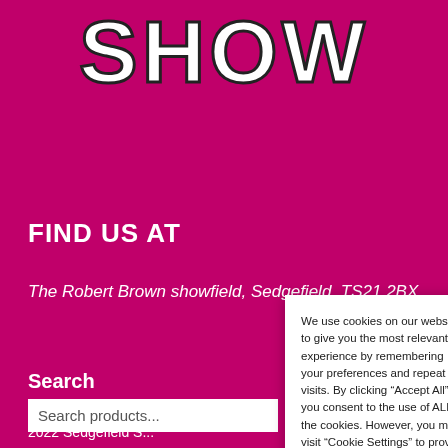SHOW
FIND US AT
The Robert Brown showfield, Sedgefield, TS21 2BX
Search
Search products...
We use cookies on our website to give you the most relevant experience by remembering your preferences and repeat visits. By clicking “Accept All”, you consent to the use of ALL the cookies. However, you may visit "Cookie Settings" to provide a controlled consent.
Cookie Settings
Accept All
2022 Sedgefield S...